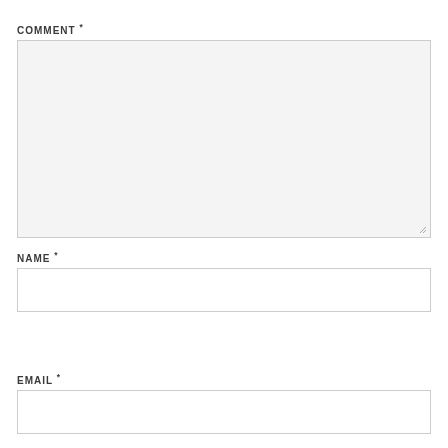COMMENT *
[Figure (other): Large empty comment textarea input field with light gray background and resize handle]
NAME *
[Figure (other): Single-line name text input field]
EMAIL *
[Figure (other): Single-line email text input field, partially visible]